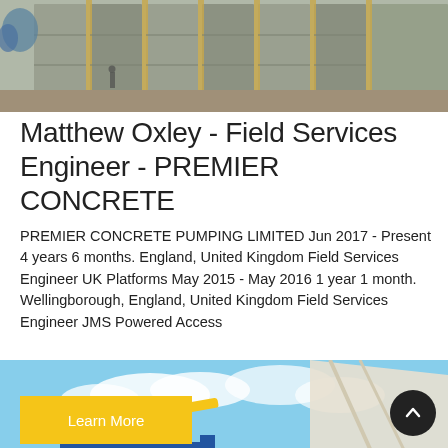[Figure (photo): Construction site with concrete formwork walls and scaffolding, outdoor setting with blue tanks visible in the background]
Matthew Oxley - Field Services Engineer - PREMIER CONCRETE
PREMIER CONCRETE PUMPING LIMITED Jun 2017 - Present 4 years 6 months. England, United Kingdom Field Services Engineer UK Platforms May 2015 - May 2016 1 year 1 month. Wellingborough, England, United Kingdom Field Services Engineer JMS Powered Access
[Figure (photo): Concrete batching plant with blue steel structure, yellow conveyor arm, hoppers, and silos against a cloudy blue sky with a white tent-like structure in the background]